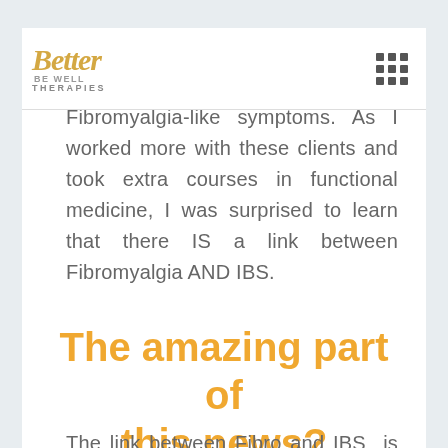Better Be Well Therapies
clients who have been diagnosed with Fibromyalgia - or have Fibromyalgia-like symptoms. As I worked more with these clients and took extra courses in functional medicine, I was surprised to learn that there IS a link between Fibromyalgia AND IBS.
The amazing part of this news?
The link between Fibro and IBS is part of the answer to healing both of them. At the same time.